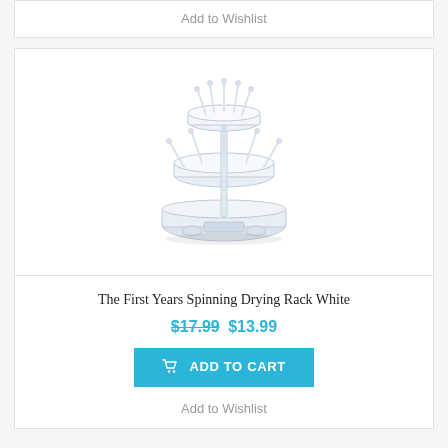Add to Wishlist
[Figure (photo): The First Years Spinning Drying Rack White product photo — a white two-tier rotating bottle drying rack with upright pegs on circular platforms]
The First Years Spinning Drying Rack White
$17.99 $13.99
ADD TO CART
Add to Wishlist
YOU RECENTLY VIEWED...